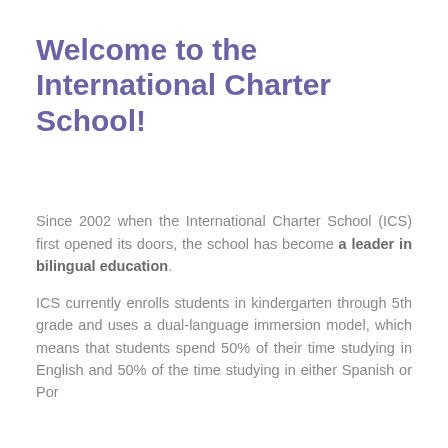Welcome to the International Charter School!
Since 2002 when the International Charter School (ICS) first opened its doors, the school has become a leader in bilingual education.
ICS currently enrolls students in kindergarten through 5th grade and uses a dual-language immersion model, which means that students spend 50% of their time studying in English and 50% of the time studying in either Spanish or Por...